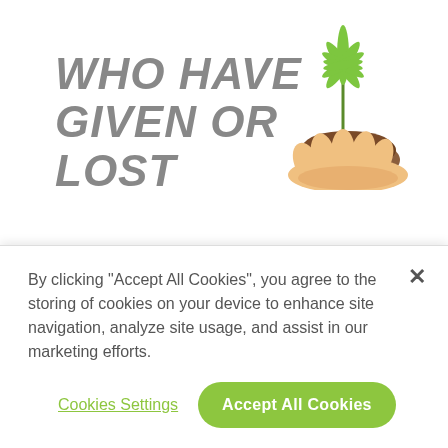WHO HAVE GIVEN OR LOST
[Figure (illustration): A cartoon hand holding a cannabis plant with soil, with a cannabis leaf visible above]
[Figure (other): Green 'Book Demo' button with white bold text]
By clicking "Accept All Cookies", you agree to the storing of cookies on your device to enhance site navigation, analyze site usage, and assist in our marketing efforts.
Cookies Settings
Accept All Cookies